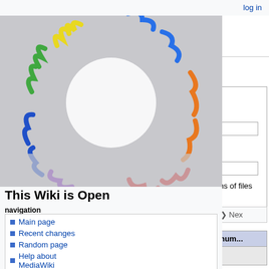log in
[Figure (illustration): Colorful ring made of paper clips in rainbow colors (red, orange, yellow, green, blue, purple) on white/gray background]
This Wiki is Open
navigation
Main page
Recent changes
Random page
Help about MediaWiki
search
Search Rost Lab Op
tools
User contributions
Logs
View user groups
Special pages
special page
File list
This special page shows all uploaded files.
File list form: Items per page: 50, Search for media name, Username: Lkajan, Include old versions of files checkbox, Go button
First page | Previous page | Next page
| Date | Name | Thum... |
| --- | --- | --- |
|  |